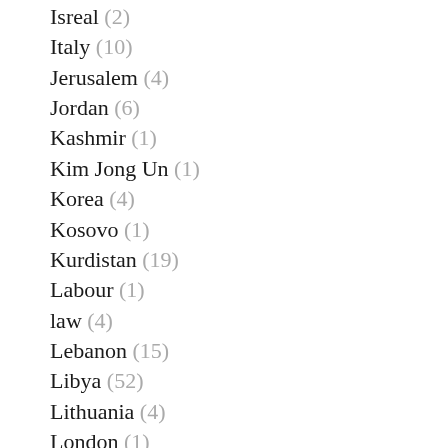Isreal (2)
Italy (10)
Jerusalem (4)
Jordan (6)
Kashmir (1)
Kim Jong Un (1)
Korea (4)
Kosovo (1)
Kurdistan (19)
Labour (1)
law (4)
Lebanon (15)
Libya (52)
Lithuania (4)
London (1)
Malaysia (1)
Media (26)
MEPP (14)